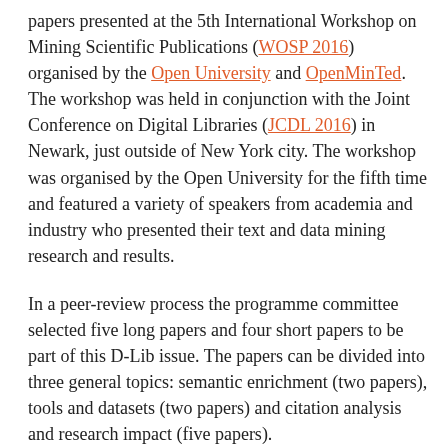papers presented at the 5th International Workshop on Mining Scientific Publications (WOSP 2016) organised by the Open University and OpenMinTed. The workshop was held in conjunction with the Joint Conference on Digital Libraries (JCDL 2016) in Newark, just outside of New York city. The workshop was organised by the Open University for the fifth time and featured a variety of speakers from academia and industry who presented their text and data mining research and results.
In a peer-review process the programme committee selected five long papers and four short papers to be part of this D-Lib issue. The papers can be divided into three general topics: semantic enrichment (two papers), tools and datasets (two papers) and citation analysis and research impact (five papers).
Lire la suite : http://www.dlib.org/dlib/september16/09guest-editorial.html